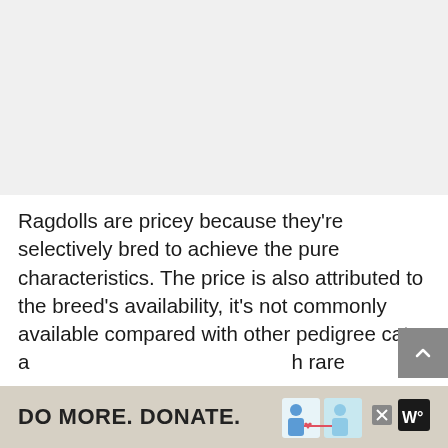[Figure (photo): Placeholder image area, light gray background, likely a cat photo]
Ragdolls are pricey because they're selectively bred to achieve the pure characteristics. The price is also attributed to the breed's availability, it's not commonly available compared with other pedigree cats like the Maine Coon or Persian cat. Other factors affecting the price of Ragdolls are location, the breeder, a... ...h rare c...
[Figure (infographic): Advertisement banner: DO MORE. DONATE. with illustration of two people and a close button]